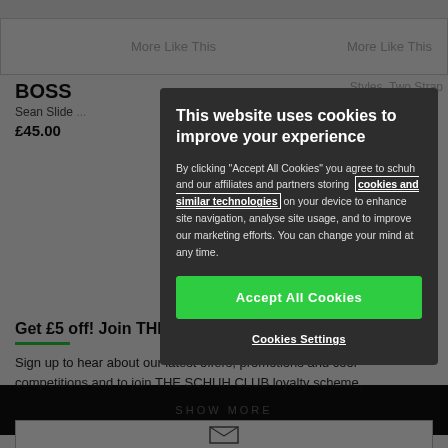More Like This
More Like This
BOSS
Sean Slide
£45.00
Two Strap
SHOW MORE
View All
Get £5 off! Join THE SCHUH CLUB & Our Emails
Sign up to hear about our latest offers, promotions and cool competitions and to join THE SCHUH CLUB loyalty scheme.
This website uses cookies to improve your experience
By clicking "Accept All Cookies" you agree to schuh and our affiliates and partners storing cookies and similar technologies on your device to enhance site navigation, analyse site usage, and to improve our marketing efforts. You can change your mind at any time.
Accept All Cookies
Cookies Settings